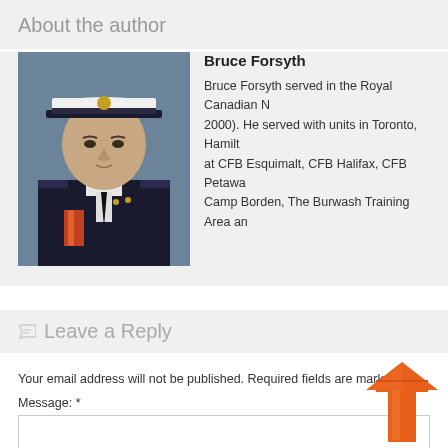About the author
[Figure (photo): Portrait photograph of Bruce Forsyth in Royal Canadian Navy uniform with white officer cap, dark navy jacket, white shirt, tie, and a medal ribbon visible]
Bruce Forsyth
Bruce Forsyth served in the Royal Canadian N... 2000). He served with units in Toronto, Hamilt... at CFB Esquimalt, CFB Halifax, CFB Petawa... Camp Borden, The Burwash Training Area an...
Leave a Reply
Your email address will not be published. Required fields are marked *
Message: *
[Figure (illustration): Orange upward-pointing arrow icon indicating upload or scroll to top action]